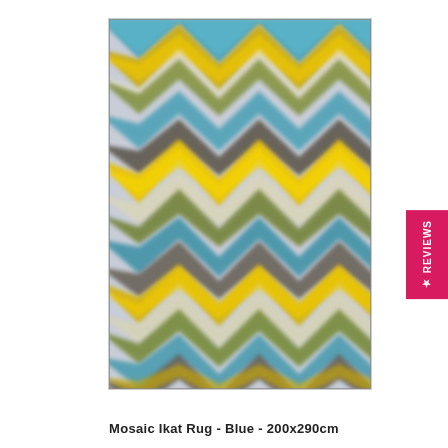[Figure (photo): A Mosaic Ikat Rug in blue colorway showing bold chevron/zigzag pattern in shades of teal/blue, yellow, gold, olive green, cream/white, and dark brown/charcoal on a light grey background. The pattern has an ikat-dyed appearance with blurred edges typical of ikat weaving technique.]
Mosaic Ikat Rug - Blue - 200x290cm